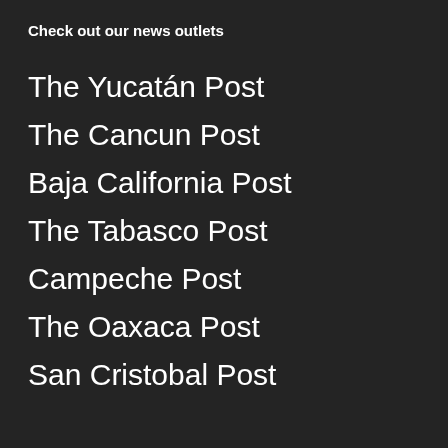Check out our news outlets
The Yucatán Post
The Cancun Post
Baja California Post
The Tabasco Post
Campeche Post
The Oaxaca Post
San Cristobal Post